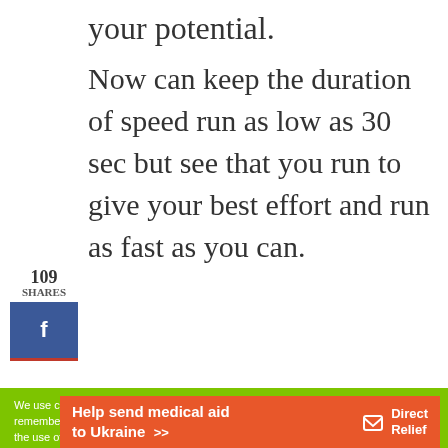your potential.
Now can keep the duration of speed run as low as 30 sec but see that you run to give your best effort and run as fast as you can.
109
SHARES
f
We use cookies on our website to give you the most relevant experience by remembering your preferences and repeat visits. By clicking “Accept”, you consent to the use of ALL the cookies.
Do not sell my personal information.
Help send medical aid to Ukraine >>